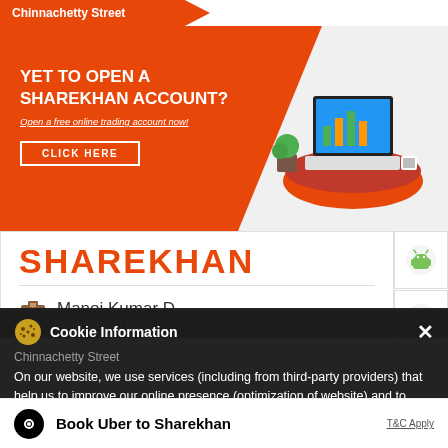Chinnachetty Street
[Figure (screenshot): Sharekhan promotional banner - YET TO OPEN A SHAREKHAN ACCOUNT? Open a free online trading account now! CLICK HERE]
SHAREKHAN
Manoj Kumar D
Main Guard Gate
Chinnachetty Street
Closed for the day
Cookie Information
On our website, we use services (including from third-party providers) that help us to improve our online presence (optimization of website) and to display content that is geared to their interests. We need your consent before being able to use these services.
Book Uber to Sharekhan
T&C Apply